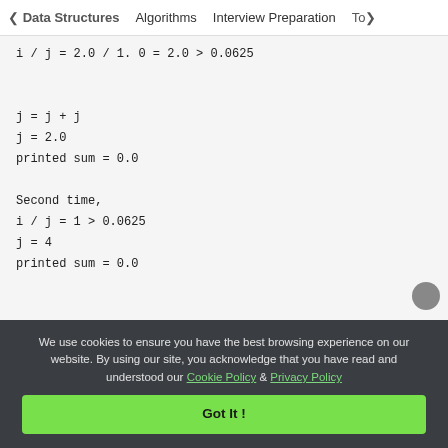< Data Structures   Algorithms   Interview Preparation   Top>
i / j = 2.0 / 1. 0 = 2.0 > 0.0625

j = j + j
j = 2.0
printed sum = 0.0

Second time,
i / j = 1 > 0.0625
j = 4
printed sum = 0.0
We use cookies to ensure you have the best browsing experience on our website. By using our site, you acknowledge that you have read and understood our Cookie Policy & Privacy Policy
Got It !